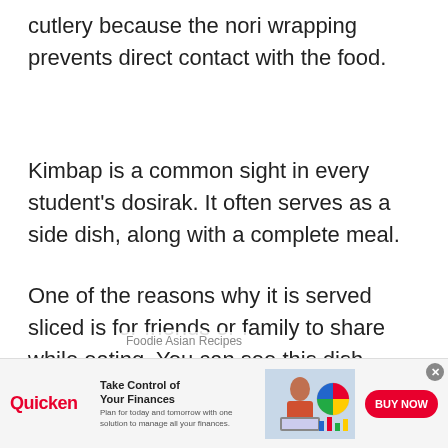cutlery because the nori wrapping prevents direct contact with the food.
Kimbap is a common sight in every student's dosirak. It often serves as a side dish, along with a complete meal.
One of the reasons why it is served sliced is for friends or family to share while eating. You can see this dish served on picnics as a boon-shik, or a casual snack.
[Figure (screenshot): Advertisement banner for Quicken finance software showing logo, headline 'Take Control of Your Finances', subtext, woman at laptop image, and red 'BUY NOW' button]